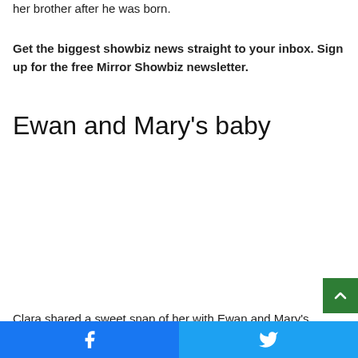her brother after he was born.
Get the biggest showbiz news straight to your inbox. Sign up for the free Mirror Showbiz newsletter.
Ewan and Mary's baby
[Figure (photo): Photo placeholder area for image of Clara with Ewan and Mary's baby]
Clara shared a sweet snap of her with Ewan and Mary's ba... (
Facebook share | Twitter share